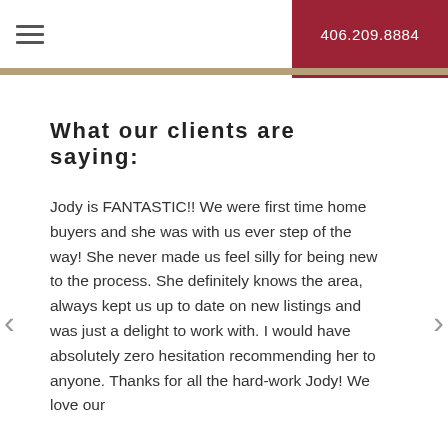406.209.8884
What our clients are saying:
Jody is FANTASTIC!! We were first time home buyers and she was with us ever step of the way! She never made us feel silly for being new to the process. She definitely knows the area, always kept us up to date on new listings and was just a delight to work with. I would have absolutely zero hesitation recommending her to anyone. Thanks for all the hard-work Jody! We love our